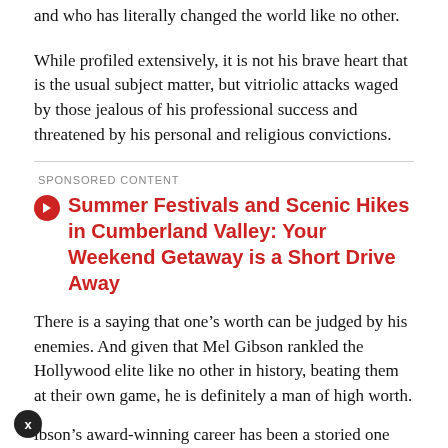and who has literally changed the world like no other.
While profiled extensively, it is not his brave heart that is the usual subject matter, but vitriolic attacks waged by those jealous of his professional success and threatened by his personal and religious convictions.
SPONSORED CONTENT
Summer Festivals and Scenic Hikes in Cumberland Valley: Your Weekend Getaway is a Short Drive Away
There is a saying that one’s worth can be judged by his enemies. And given that Mel Gibson rankled the Hollywood elite like no other in history, beating them at their own game, he is definitely a man of high worth.
Gibson’s award-winning career has been a storied one